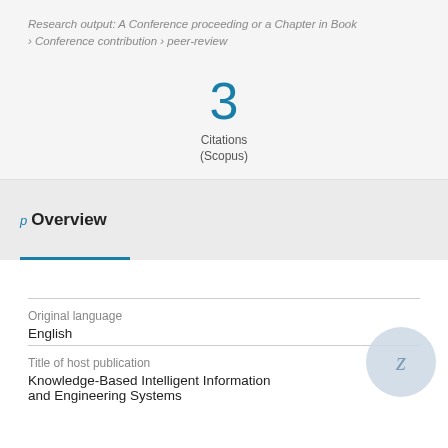Research output: A Conference proceeding or a Chapter in Book › Conference contribution › peer-review
3
Citations
(Scopus)
Overview
| Field | Value |
| --- | --- |
| Original language | English |
| Title of host publication | Knowledge-Based Intelligent Information and Engineering Systems |